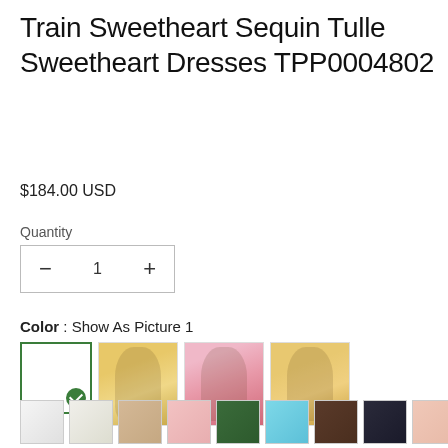Train Sweetheart Sequin Tulle Sweetheart Dresses TPP0004802
$184.00 USD
Quantity
Color : Show As Picture 1
[Figure (other): Product color swatches and dress thumbnail images showing the selected color (white/blank with green checkmark) and three dress photos in yellow/gold color]
[Figure (other): Row of fabric color swatches: white, off-white, champagne/tan, pink, dark green, light blue, dark brown, dark navy, light pink]